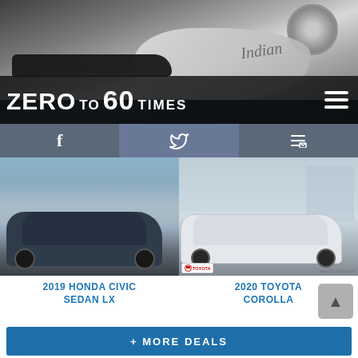[Figure (photo): Black and white photo of an Indian motorcycle, showing the tank and seat from above/side angle]
ZERO to 60 TIMES
[Figure (infographic): Social media navigation bar with Facebook, Twitter, and email icons on a steel-blue background]
[Figure (photo): Photo of a 2019 Honda Civic Sedan LX in a parking lot]
[Figure (photo): Photo of a 2020 Toyota Corolla in a Toyota dealership lot]
2019 HONDA CIVIC SEDAN LX
2020 TOYOTA COROLLA
+ MORE DEALS